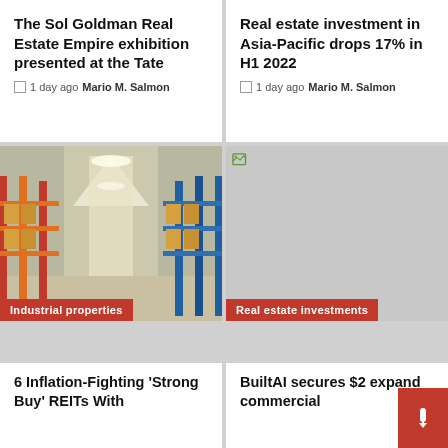The Sol Goldman Real Estate Empire exhibition presented at the Tate
1 day ago  Mario M. Salmon
Real estate investment in Asia-Pacific drops 17% in H1 2022
1 day ago  Mario M. Salmon
[Figure (photo): Interior of an industrial warehouse with tall orange and blue racking shelves loaded with boxes, viewed from a long aisle perspective. Category badge: Industrial properties]
[Figure (photo): Gray placeholder image with broken image icon. Category badge: Real estate investments]
6 Inflation-Fighting 'Strong Buy' REITs With
BuiltAI secures $2 expand commercial